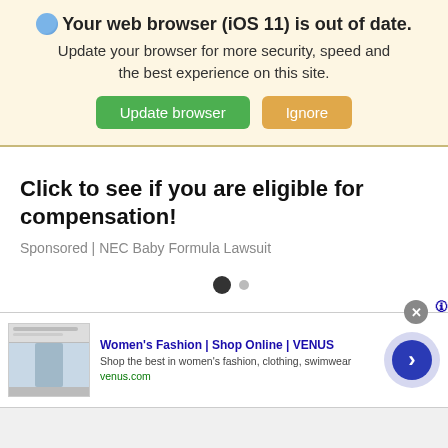🌐 Your web browser (iOS 11) is out of date. Update your browser for more security, speed and the best experience on this site.
Update browser | Ignore
Click to see if you are eligible for compensation!
Sponsored | NEC Baby Formula Lawsuit
[Figure (screenshot): Ad banner for Women's Fashion | Shop Online | VENUS. Shows thumbnail of website, title in blue, description 'Shop the best in women's fashion, clothing, swimwear', URL venus.com in green, and a blue arrow circle button.]